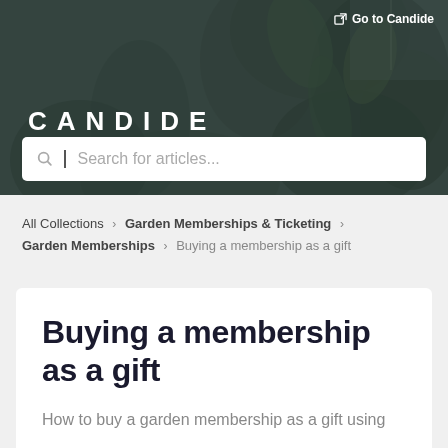[Figure (screenshot): Hero banner with dark overlay on blurred plant/foliage background image]
CANDIDE
Search for articles...
Go to Candide
All Collections > Garden Memberships & Ticketing > Garden Memberships > Buying a membership as a gift
Buying a membership as a gift
How to buy a garden membership as a gift using